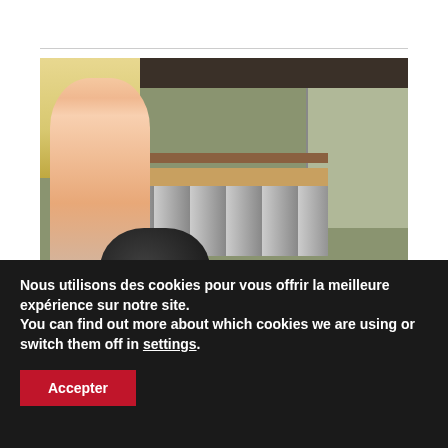[Figure (photo): A blonde woman in a pink top in a kitchen, leaning over a counter or piece of furniture. Kitchen shelves and tiled backsplash visible in background.]
Nous utilisons des cookies pour vous offrir la meilleure expérience sur notre site.
You can find out more about which cookies we are using or switch them off in settings.
Accepter